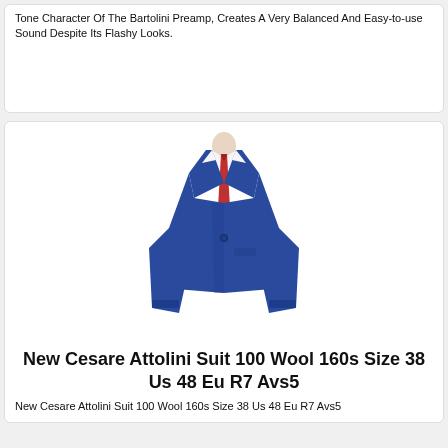Tone Character Of The Bartolini Preamp, Creates A Very Balanced And Easy-to-use Sound Despite Its Flashy Looks.
[Figure (photo): Blue wool suit jacket on a mannequin with white shirt and red tie]
New Cesare Attolini Suit 100 Wool 160s Size 38 Us 48 Eu R7 Avs5
New Cesare Attolini Suit 100 Wool 160s Size 38 Us 48 Eu R7 Avs5